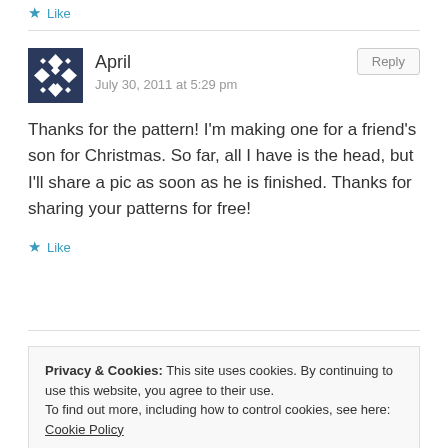Like
April
July 30, 2011 at 5:29 pm
Thanks for the pattern! I'm making one for a friend's son for Christmas. So far, all I have is the head, but I'll share a pic as soon as he is finished. Thanks for sharing your patterns for free!
Like
Privacy & Cookies: This site uses cookies. By continuing to use this website, you agree to their use.
To find out more, including how to control cookies, see here: Cookie Policy